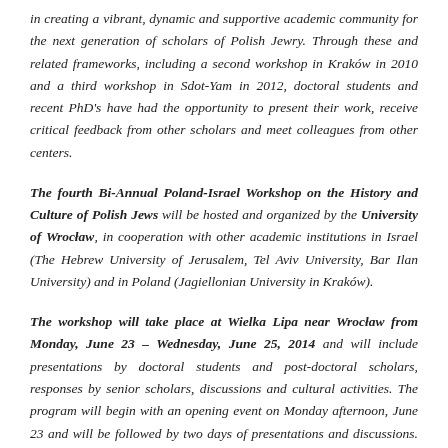in creating a vibrant, dynamic and supportive academic community for the next generation of scholars of Polish Jewry. Through these and related frameworks, including a second workshop in Kraków in 2010 and a third workshop in Sdot-Yam in 2012, doctoral students and recent PhD's have had the opportunity to present their work, receive critical feedback from other scholars and meet colleagues from other centers.
The fourth Bi-Annual Poland-Israel Workshop on the History and Culture of Polish Jews will be hosted and organized by the University of Wrocław, in cooperation with other academic institutions in Israel (The Hebrew University of Jerusalem, Tel Aviv University, Bar Ilan University) and in Poland (Jagiellonian University in Kraków).
The workshop will take place at Wielka Lipa near Wrocław from Monday, June 23 – Wednesday, June 25, 2014 and will include presentations by doctoral students and post-doctoral scholars, responses by senior scholars, discussions and cultural activities. The program will begin with an opening event on Monday afternoon, June 23 and will be followed by two days of presentations and discussions. The workshop will conclude on Wednesday, June 25 in Wrocław with